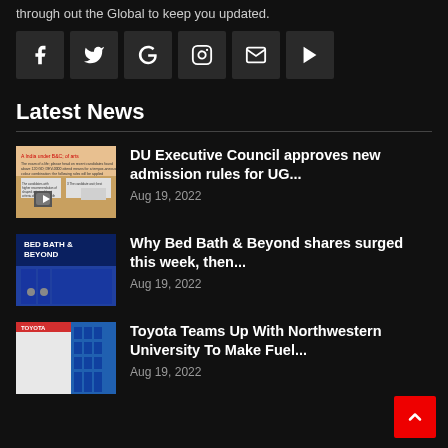through out the Global to keep you updated.
[Figure (other): Social media icon buttons: Facebook, Twitter, Google, Instagram, Email, YouTube]
Latest News
DU Executive Council approves new admission rules for UG... | Aug 19, 2022
Why Bed Bath & Beyond shares surged this week, then... | Aug 19, 2022
Toyota Teams Up With Northwestern University To Make Fuel... | Aug 19, 2022